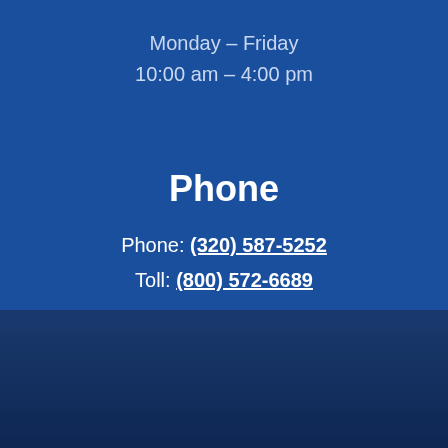Monday – Friday
10:00 am – 4:00 pm
Phone
Phone: (320) 587-5252
Toll: (800) 572-6689